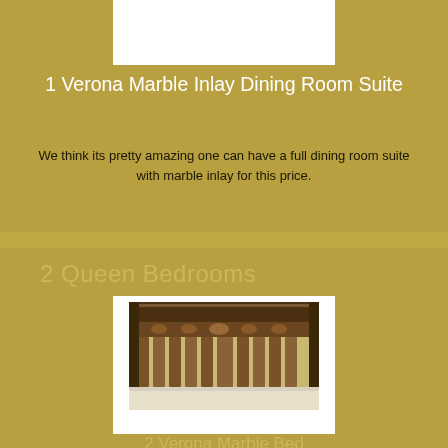[Figure (photo): White rectangular placeholder image for dining room suite product]
1 Verona Marble Inlay Dining Room Suite
We think its pretty amazing one can have a full dining room suite with marble inlay for this price.
2 Queen Bedrooms
[Figure (photo): Photo of a wooden carved headboard (Verona Marble Bed) with white bed linens below]
2 Verona Marble Bed